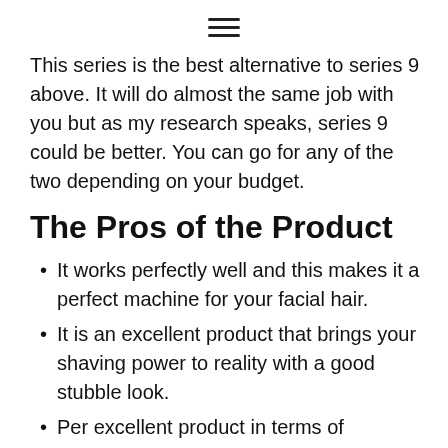≡
This series is the best alternative to series 9 above. It will do almost the same job with you but as my research speaks, series 9 could be better. You can go for any of the two depending on your budget.
The Pros of the Product
It works perfectly well and this makes it a perfect machine for your facial hair.
It is an excellent product that brings your shaving power to reality with a good stubble look.
Per excellent product in terms of durability.